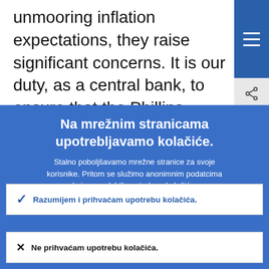unmooring inflation expectations, they raise significant concerns. It is our duty, as a central bank, to ensure that the Phillips
Na mrežnim stranicama upotrebljavamo kolačiće.
Stalno poboljšavamo mrežne stranice za svoje korisnike. Pritom se služimo anonimnim podatcima koje smo dobili upotrebom kolačića.
Više o tome kako upotrebljavamo kolačiće
Razumijem i prihvaćam upotrebu kolačića.
Ne prihvaćam upotrebu kolačića.